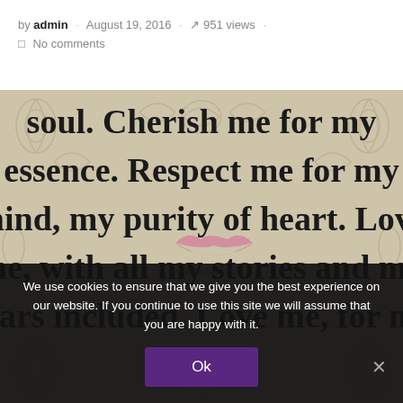by admin · August 19, 2016 · 951 views · No comments
[Figure (illustration): Decorative quote image on ornate beige/tan swirl background with large serif bold text reading: 'soul. Cherish me for my essence. Respect me for my mind, my purity of heart. Love me, with all my stories and my scars included. Love me, for me' with a pink lips watermark and loveandsayings.com text overlay]
We use cookies to ensure that we give you the best experience on our website. If you continue to use this site we will assume that you are happy with it.
Ok